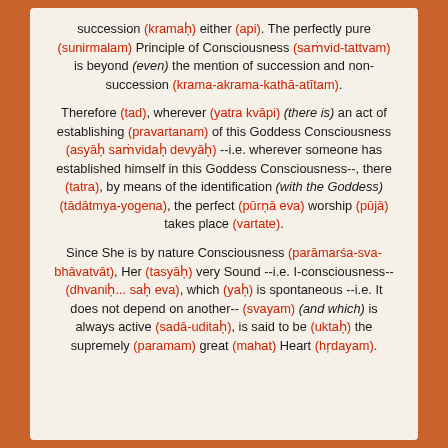succession (kramaḥ) either (api). The perfectly pure (sunirmalam) Principle of Consciousness (saṁvid-tattvam) is beyond (even) the mention of succession and non-succession (krama-akrama-kathā-atītam).
Therefore (tad), wherever (yatra kvāpi) (there is) an act of establishing (pravartanam) of this Goddess Consciousness (asyāḥ saṁvidaḥ devyāḥ) --i.e. wherever someone has established himself in this Goddess Consciousness--, there (tatra), by means of the identification (with the Goddess) (tādātmya-yogena), the perfect (pūrṇā eva) worship (pūjā) takes place (vartate).
Since She is by nature Consciousness (parāmarśa-sva-bhāvatvāt), Her (tasyāḥ) very Sound --i.e. I-consciousness-- (dhvaniḥ... saḥ eva), which (yaḥ) is spontaneous --i.e. It does not depend on another-- (svayam) (and which) is always active (sadā-uditaḥ), is said to be (uktaḥ) the supremely (paramam) great (mahat) Heart (hṛdayam).